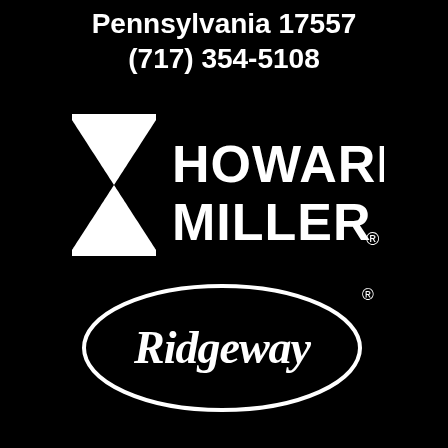Pennsylvania 17557
(717) 354-5108
[Figure (logo): Howard Miller brand logo — hourglass-shaped icon on the left, bold text 'HOWARD MILLER®' on the right, all white on black background]
[Figure (logo): Ridgeway brand logo — white oval outline containing italic script text 'Ridgeway' with a registered trademark symbol, white on black background]